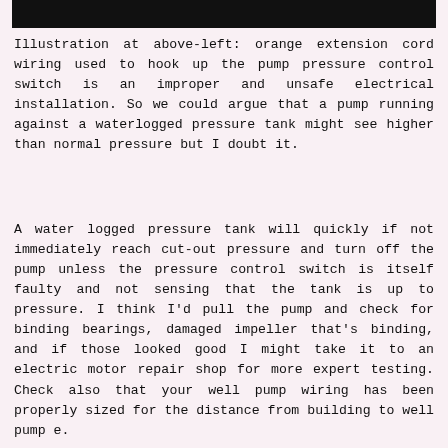[Figure (photo): Black redacted bar at the top of the page]
Illustration at above-left: orange extension cord wiring used to hook up the pump pressure control switch is an improper and unsafe electrical installation. So we could argue that a pump running against a waterlogged pressure tank might see higher than normal pressure but I doubt it.
A water logged pressure tank will quickly if not immediately reach cut-out pressure and turn off the pump unless the pressure control switch is itself faulty and not sensing that the tank is up to pressure. I think I'd pull the pump and check for binding bearings, damaged impeller that's binding, and if those looked good I might take it to an electric motor repair shop for more expert testing. Check also that your well pump wiring has been properly sized for the distance from building to well pump e.